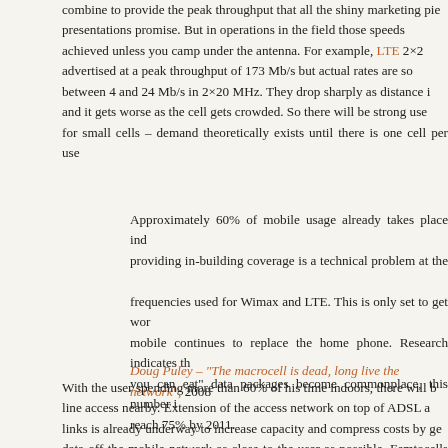combine to provide the peak throughput that all the shiny marketing pie presentations promise. But in operations in the field those speeds achieved unless you camp under the antenna. For example, LTE 2×2 advertised at a peak throughput of 173 Mb/s but actual rates are between 4 and 24 Mb/s in 2×20 MHz. They drop sharply as distance i and it gets worse as the cell gets crowded. So there will be strong user for small cells – demand theoretically exists until there is one cell per use
Approximately 60% of mobile usage already takes place indo providing in-building coverage is a technical problem at the g frequencies used for Wimax and LTE. This is only set to get wors mobile continues to replace the home phone. Research indicates th you can eat" data packages become commonplace, this number is reach 75% by 2011.
Doug Puley – "The macrocell is dead, long live the network", 2008
With the user spending more than 60% of his time indoors, there will b line access nearby. Extension of the access network on top of ADSL a links is already underway to increase capacity and compress costs by g data off the mobile network as close to the user as possible. Femtocells on ADSL too. So ADSL will remain useful as a way for mobile operator load from the rest of the access network. And on top of that, ADSL operator reach subscribers in areas not covered by the radio network.